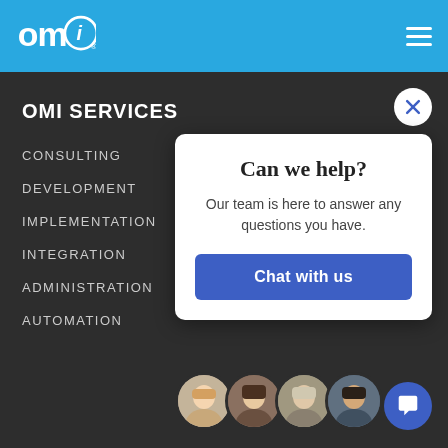[Figure (logo): OMI logo in white on blue header bar]
[Figure (illustration): Hamburger menu icon (three horizontal white lines) in top right of blue header]
OMI SERVICES
CONSULTING
DEVELOPMENT
IMPLEMENTATION
INTEGRATION
ADMINISTRATION
AUTOMATION
[Figure (illustration): White circle with X close button in upper right area]
Can we help?
Our team is here to answer any questions you have.
Chat with us
[Figure (photo): Four circular avatar photos of team members]
[Figure (illustration): Blue circular chat bubble button in bottom right corner]